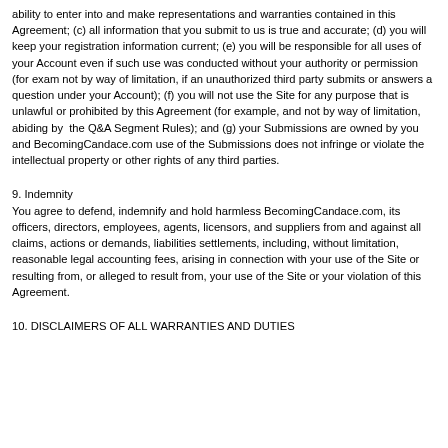ability to enter into and make representations and warranties contained in this Agreement; (c) all information that you submit to us is true and accurate; (d) you will keep your registration information current; (e) you will be responsible for all uses of your Account even if such use was conducted without your authority or permission (for exam not by way of limitation, if an unauthorized third party submits or answers a question under your Account); (f) you will not use the Site for any purpose that is unlawful or prohibited by this Agreement (for example, and not by way of limitation, abiding by the Q&A Segment Rules); and (g) your Submissions are owned by you and BecomingCandace.com use of the Submissions does not infringe or violate the intellectual property or other rights of any third parties.
9. Indemnity
You agree to defend, indemnify and hold harmless BecomingCandace.com, its officers, directors, employees, agents, licensors, and suppliers from and against all claims, actions or demands, liabilities settlements, including, without limitation, reasonable legal accounting fees, arising in connection with your use of the Site or resulting from, or alleged to result from, your use of the Site or your violation of this Agreement.
10. DISCLAIMERS OF ALL WARRANTIES AND DUTIES